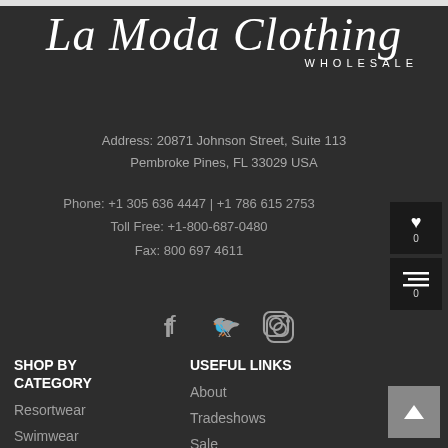La Moda Clothing WHOLESALE
Address: 20871 Johnson Street, Suite 113
Pembroke Pines, FL 33029 USA
Phone: +1 305 636 4447 | +1 786 615 2753
Toll Free: +1-800-687-0480
Fax: 800 697 4611
[Figure (infographic): Social media icons: Facebook, Twitter, Instagram]
SHOP BY CATEGORY
Resortwear
Swimwear
USEFUL LINKS
About
Tradeshows
Sale